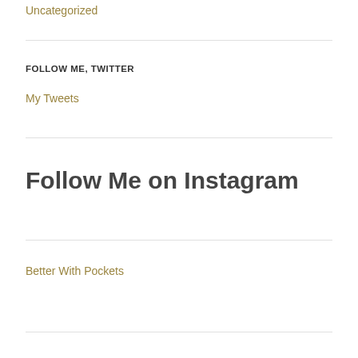Uncategorized
FOLLOW ME, TWITTER
My Tweets
Follow Me on Instagram
Better With Pockets